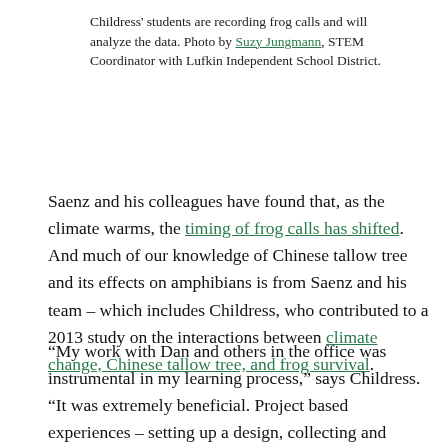Childress' students are recording frog calls and will analyze the data. Photo by Suzy Jungmann, STEM Coordinator with Lufkin Independent School District.
Saenz and his colleagues have found that, as the climate warms, the timing of frog calls has shifted. And much of our knowledge of Chinese tallow tree and its effects on amphibians is from Saenz and his team – which includes Childress, who contributed to a 2013 study on the interactions between climate change, Chinese tallow tree, and frog survival.
“My work with Dan and others in the office was instrumental in my learning process,” says Childress. “It was extremely beneficial. Project based experiences – setting up a design, collecting and analyzing data –